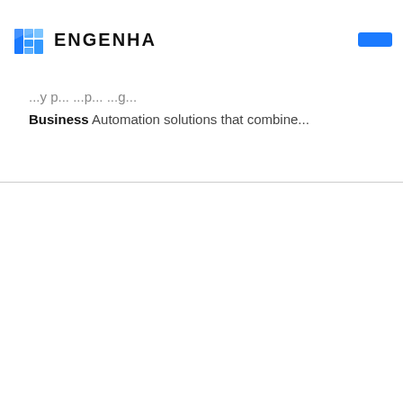[Figure (logo): Engenha logo with blue building icon and bold text 'ENGENHA']
Business Automation solutions that combine...